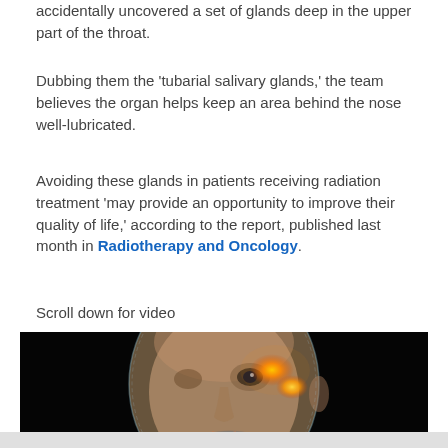accidentally uncovered a set of glands deep in the upper part of the throat.
Dubbing them the 'tubarial salivary glands,' the team believes the organ helps keep an area behind the nose well-lubricated.
Avoiding these glands in patients receiving radiation treatment 'may provide an opportunity to improve their quality of life,' according to the report, published last month in Radiotherapy and Oncology.
Scroll down for video
[Figure (illustration): Medical illustration of a semi-transparent human head showing internal anatomy with highlighted salivary gland structures glowing in orange/amber, set against a black background. The face is shown in a slightly angled forward-facing view with visible eye, nose, and mouth areas. A blue highlighted structure is visible near the mouth/throat area.]